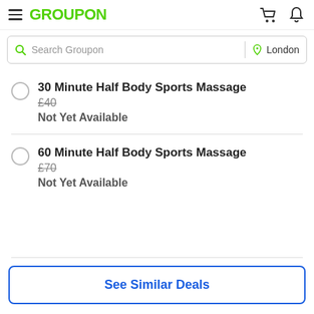GROUPON
Search Groupon | London
30 Minute Half Body Sports Massage
£40
Not Yet Available
60 Minute Half Body Sports Massage
£70
Not Yet Available
See Similar Deals